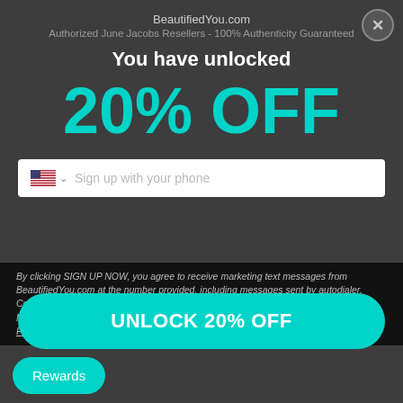BeautifiedYou.com
Authorized June Jacobs Resellers - 100% Authenticity Guaranteed
You have unlocked
20% OFF
[Figure (screenshot): Phone number sign-up input field with US flag icon and dropdown chevron, placeholder text 'Sign up with your phone']
By clicking SIGN UP NOW, you agree to receive marketing text messages from BeautifiedYou.com at the number provided, including messages sent by autodialer. Consent is not a condition of any purchase. Message and data rates may apply. Message frequency varies. Reply HELP for help or STOP to cancel. View our Privacy Policy and Terms of Service.
UNLOCK 20% OFF
Rewards